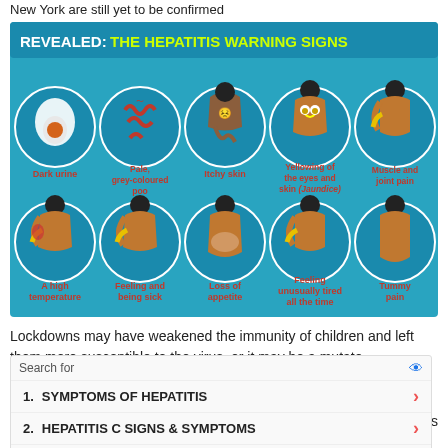New York are still yet to be confirmed
[Figure (infographic): Infographic titled 'REVEALED: THE HEPATITIS WARNING SIGNS' showing 10 symptoms with illustrated circular icons on a teal/blue background: Dark urine, Pale grey-coloured poo, Itchy skin, Yellowing of the eyes and skin (Jaundice), Muscle and joint pain, A high temperature, Feeling and being sick, Loss of appetite, Feeling unusually tired all the time, Tummy pain]
Lockdowns may have weakened the immunity of children and left them more susceptible to the virus, or it may be a mutate
1. SYMPTOMS OF HEPATITIS
2. HEPATITIS C SIGNS & SYMPTOMS
Officia
is
Ad | Business Focus